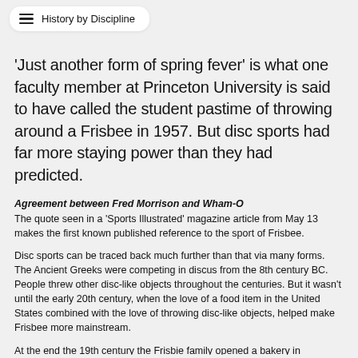History by Discipline
'Just another form of spring fever' is what one faculty member at Princeton University is said to have called the student pastime of throwing around a Frisbee in 1957. But disc sports had far more staying power than they had predicted.
Agreement between Fred Morrison and Wham-O
The quote seen in a 'Sports Illustrated' magazine article from May 13 makes the first known published reference to the sport of Frisbee.
Disc sports can be traced back much further than that via many forms. The Ancient Greeks were competing in discus from the 8th century BC. People threw other disc-like objects throughout the centuries. But it wasn't until the early 20th century, when the love of a food item in the United States combined with the love of throwing disc-like objects, helped make Frisbee more mainstream.
At the end the 19th century the Frisbie family opened a bakery in Connecticut. The business became successful and the Frisbie Pie Company expanded into the U.S. states of New York and Rhode Island. Their best-selling items of pies and cookies really took off. At the peak in 1956 they baked 80,000 pies a day.
Play Catch, Invent Games. What is at the core of our sports and games.